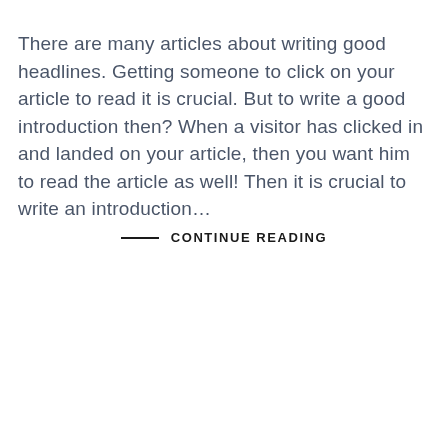There are many articles about writing good headlines. Getting someone to click on your article to read it is crucial. But to write a good introduction then? When a visitor has clicked in and landed on your article, then you want him to read the article as well! Then it is crucial to write an introduction...
—— CONTINUE READING